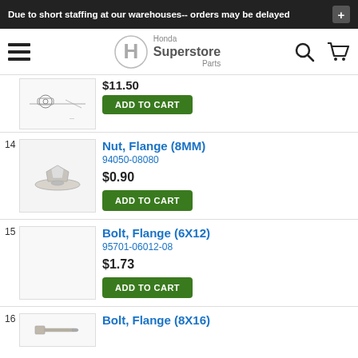Due to short staffing at our warehouses-- orders may be delayed
[Figure (screenshot): Honda Superstore Parts navigation bar with hamburger menu, Honda H logo, search icon, and cart icon]
[Figure (photo): Partial product item with technical diagram and ADD TO CART button, price $11.50]
14
[Figure (photo): Photo of Nut, Flange (8MM) hardware part on white background]
Nut, Flange (8MM)
94050-08080
$0.90
ADD TO CART
15
[Figure (photo): Blank/white image placeholder for Bolt, Flange (6X12)]
Bolt, Flange (6X12)
95701-06012-08
$1.73
ADD TO CART
16
Bolt, Flange (8X16)